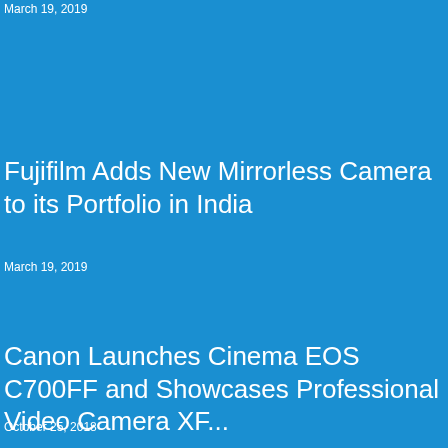March 19, 2019
Fujifilm Adds New Mirrorless Camera to its Portfolio in India
March 19, 2019
Canon Launches Cinema EOS C700FF and Showcases Professional Video Camera XF...
October 25, 2018